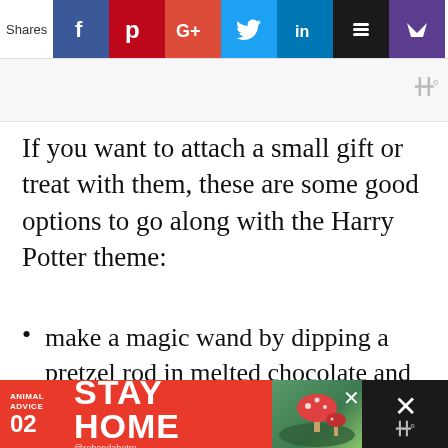[Figure (screenshot): Social share bar with icons for Facebook, Pinterest, Google+, Twitter, LinkedIn, Buffer, and another social network. Shows 'Shares' label on the left.]
If you want to attach a small gift or treat with them, these are some good options to go along with the Harry Potter theme:
make a magic wand by dipping a pretzel rod in melted chocolate and adding sprinkles
attach to a glow stick like a magic wand
gift a Harry Potter book or DVD with the printable card
[Figure (screenshot): Ad banner at bottom: red background with 'ANIMAL ADVICE 02' on left, 'STAY HOME' in large white text, illustrated mushroom/nature graphic, close button X, and dark panel on right with WU logo.]